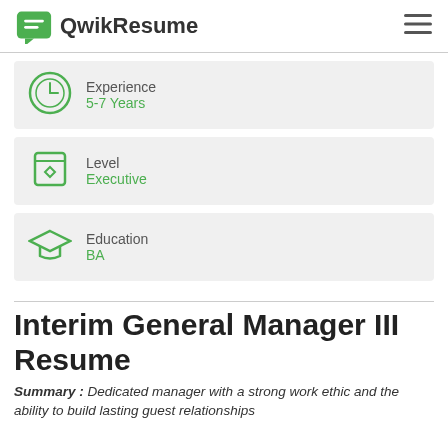QwikResume
Experience
5-7 Years
Level
Executive
Education
BA
Interim General Manager III Resume
Summary : Dedicated manager with a strong work ethic and the ability to build lasting guest relationships